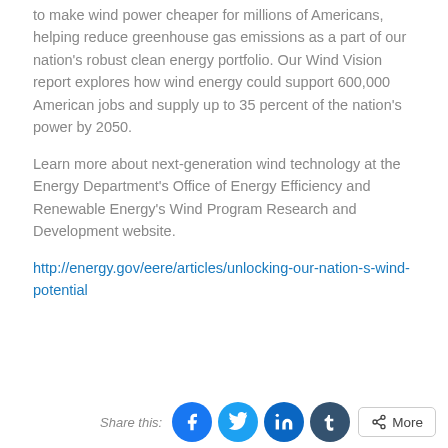to make wind power cheaper for millions of Americans, helping reduce greenhouse gas emissions as a part of our nation's robust clean energy portfolio. Our Wind Vision report explores how wind energy could support 600,000 American jobs and supply up to 35 percent of the nation's power by 2050.
Learn more about next-generation wind technology at the Energy Department's Office of Energy Efficiency and Renewable Energy's Wind Program Research and Development website.
http://energy.gov/eere/articles/unlocking-our-nation-s-wind-potential
Share this: [Facebook] [Twitter] [LinkedIn] [Tumblr] More